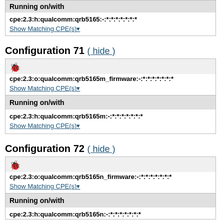| Running on/with |
| cpe:2.3:h:qualcomm:qrb5165:-:*:*:*:*:*:*:* |
| Show Matching CPE(s)▾ |
Configuration 71 ( hide )
| 🛡 (bug icon) | cpe:2.3:o:qualcomm:qrb5165m_firmware:-:*:*:*:*:*:*:* | Show Matching CPE(s)▾ |
| Running on/with |
| cpe:2.3:h:qualcomm:qrb5165m:-:*:*:*:*:*:*:* | Show Matching CPE(s)▾ |
Configuration 72 ( hide )
| 🛡 (bug icon) | cpe:2.3:o:qualcomm:qrb5165n_firmware:-:*:*:*:*:*:*:* | Show Matching CPE(s)▾ |
| Running on/with |
| cpe:2.3:h:qualcomm:qrb5165n:-:*:*:*:*:*:*:* |